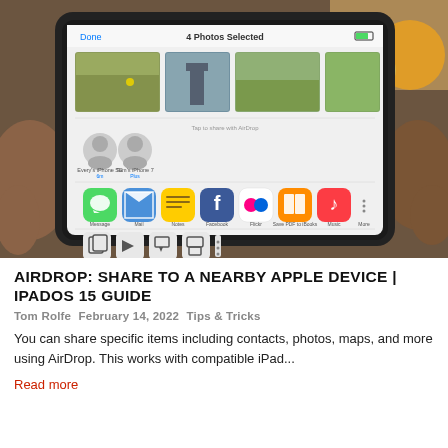[Figure (photo): Person holding an iPad displaying the iOS share sheet with photos selected and various app icons for sharing including Messages, Mail, Notes, Facebook, Flickr, iBooks, Music and more.]
AIRDROP: SHARE TO A NEARBY APPLE DEVICE | IPADOS 15 GUIDE
Tom Rolfe  February 14, 2022  Tips & Tricks
You can share specific items including contacts, photos, maps, and more using AirDrop. This works with compatible iPad...
Read more